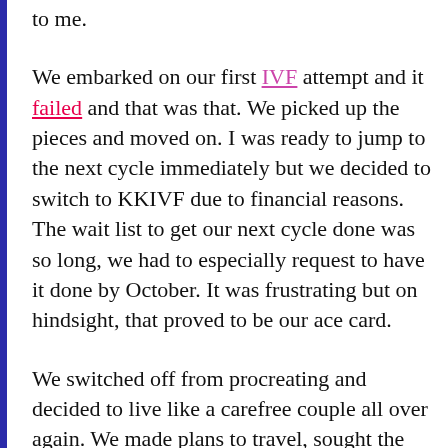to me.
We embarked on our first IVF attempt and it failed and that was that. We picked up the pieces and moved on. I was ready to jump to the next cycle immediately but we decided to switch to KKIVF due to financial reasons. The wait list to get our next cycle done was so long, we had to especially request to have it done by October. It was frustrating but on hindsight, that proved to be our ace card.
We switched off from procreating and decided to live like a carefree couple all over again. We made plans to travel, sought the help of a fengshui master who was highly recommended by my cousin, renovated east end and dedicated ourselves to being the humans of our two cats. I resigned from my job and went into teaching. We found new coffee places to hang out at on weekends.